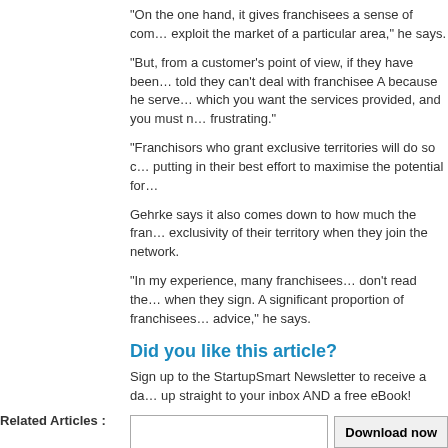“On the one hand, it gives franchisees a sense of com… exploit the market of a particular area,” he says.
“But, from a customer’s point of view, if they have been… told they can’t deal with franchisee A because he serve… which you want the services provided, and you must n… frustrating.”
“Franchisors who grant exclusive territories will do so c… putting in their best effort to maximise the potential for…
Gehrke says it also comes down to how much the fran… exclusivity of their territory when they join the network.
“In my experience, many franchisees… don’t read the… when they sign. A significant proportion of franchisees… advice,” he says.
Did you like this article?
Sign up to the StartupSmart Newsletter to receive a da… up straight to your inbox AND a free eBook!
Next >> THE NEWS WRAP: Business confidence nee…
<< Previous Australian business leaders lag behind glo…
Related Articles :